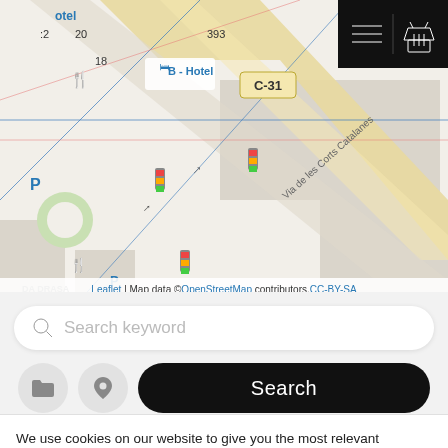[Figure (map): Street map showing B-Hotel area with Via de les Corts Catalanes, C-31 road, and surrounding streets with map markers and icons. Leaflet map with OpenStreetMap data.]
Leaflet | Map data © OpenStreetMap contributors, CC-BY-SA
[Figure (screenshot): Search bar with magnifying glass icon and placeholder text 'Search keyword']
[Figure (screenshot): Search controls with folder icon button, location pin icon button, and black 'Search' button]
We use cookies on our website to give you the most relevant experience by remembering your preferences and repeat visits. By clicking "Accept All", you consent to the use of ALL the cookies. However, you may visit "Cookie Settings" to provide a controlled consent.
[Figure (screenshot): Cookie Settings button (grey) and Accept All button (green)]